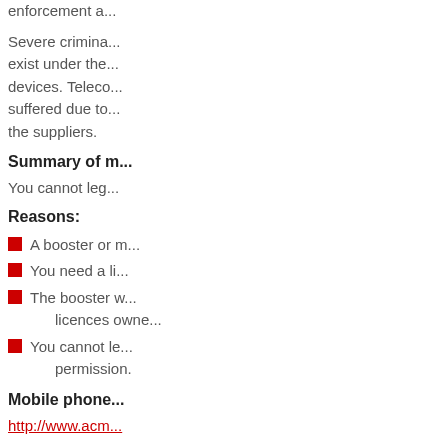enforcement a...
Severe criminal... exist under the... devices. Teleco... suffered due to... the suppliers.
Summary of m...
You cannot leg...
Reasons:
A booster or m...
You need a li...
The booster w... licences owne...
You cannot le... permission.
Mobile phone...
http://www.acm...
Alternatives:
Contact your m... any alternative...